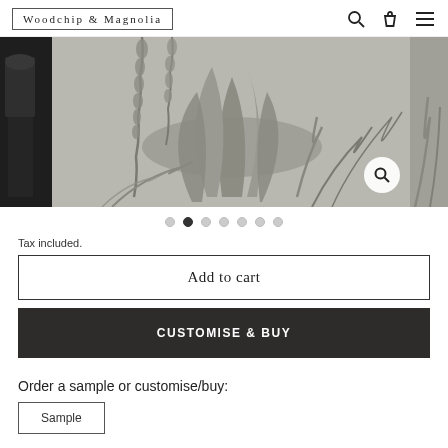Woodchip & Magnolia
[Figure (photo): Botanical wallpaper product image showing tropical leaves in grey/monochrome style, displayed in a carousel with partial side images visible. A zoom/search button is overlaid on the main image.]
Tax included.
Add to cart
CUSTOMISE & BUY
Order a sample or customise/buy:
Sample